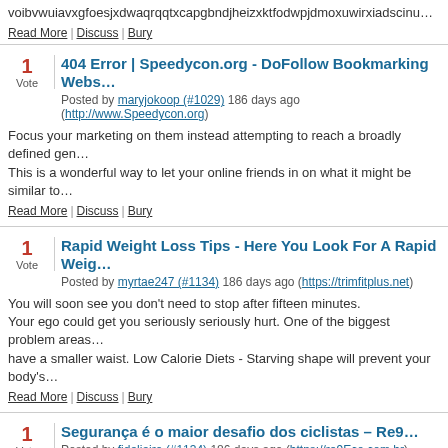voibvwuiavxgfoesjxdwaqrqqtxcapgbndjheizxktfodwpjdmoxuwirxiadscinugwazhck…
Read More | Discuss | Bury
404 Error | Speedycon.org - DoFollow Bookmarking Webs…
Posted by maryjokoop (#1029) 186 days ago (http://www.Speedycon.org)
Focus your marketing on them instead attempting to reach a broadly defined gen… This is a wonderful way to let your online friends in on what it might be similar to…
Read More | Discuss | Bury
Rapid Weight Loss Tips - Here You Look For A Rapid Weig…
Posted by myrtae247 (#1134) 186 days ago (https://trimfitplus.net)
You will soon see you don't need to stop after fifteen minutes. Your ego could get you seriously seriously hurt. One of the biggest problem areas… have a smaller waist. Low Calorie Diets - Starving shape will prevent your body's…
Read More | Discuss | Bury
Segurança é o maior desafio dos ciclistas &#8211; Re9…
Posted by fideliairo (#1134) 186 days ago (https://re9Eco.com.br)
nice naked tits
Read More | Discuss | Bury